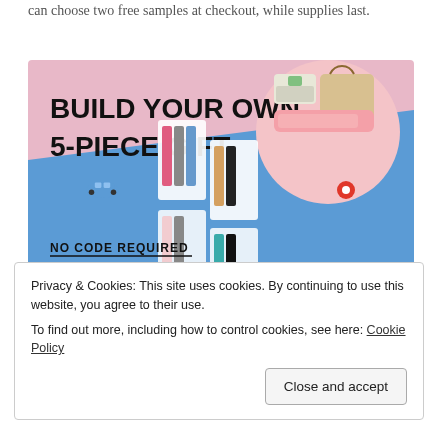can choose two free samples at checkout, while supplies last.
[Figure (photo): Promotional banner with pink and blue background showing 'BUILD YOUR OWN 5-PIECE GIFT' text, product bottles, bags, and 'NO CODE REQUIRED' text at bottom left.]
And also today: Vichy has a new Gift with Purchase
Privacy & Cookies: This site uses cookies. By continuing to use this website, you agree to their use.
To find out more, including how to control cookies, see here: Cookie Policy
need a code for this offer, this gift is available through